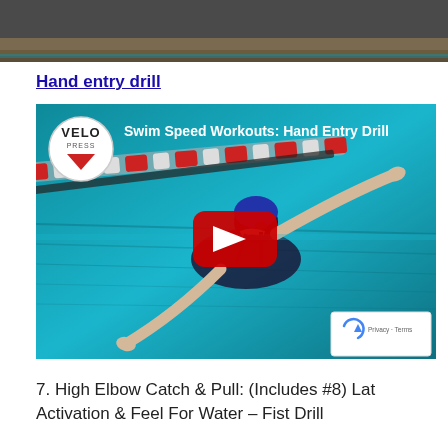[Figure (photo): Top portion of a swimming pool photo, showing wooden paneling and pool water edge]
Hand entry drill
[Figure (screenshot): YouTube video thumbnail showing a swimmer in a pool performing the hand entry drill. VELO Press logo in top-left corner. Title: 'Swim Speed Workouts: Hand Entry Drill'. Red play button in center.]
7. High Elbow Catch & Pull: (Includes #8) Lat Activation & Feel For Water – Fist Drill